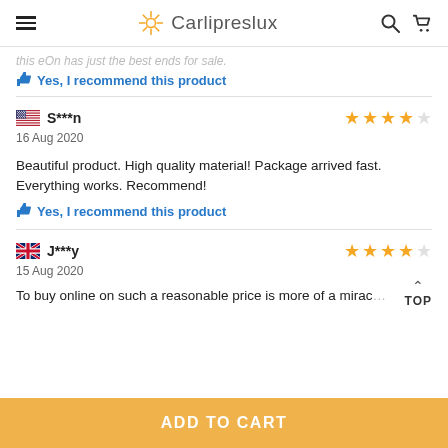Carlipreslux
this eOn has just the best ends for sale.
👍 Yes, I recommend this product
S***n — 16 Aug 2020 — 4 stars — Beautiful product. High quality material! Package arrived fast. Everything works. Recommend! — Yes, I recommend this product
J***y — 15 Aug 2020 — 4 stars — To buy online on such a reasonable price is more of a mirac...